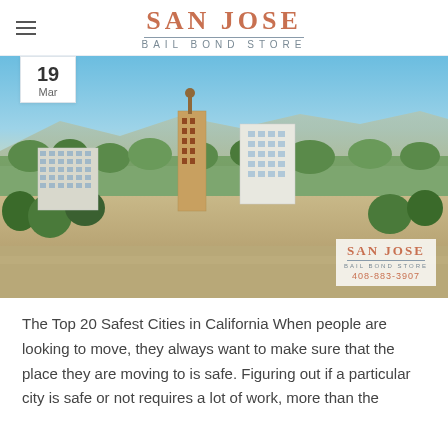SAN JOSE BAIL BOND STORE
[Figure (photo): Aerial view of San Jose, California downtown skyline with buildings, trees, and mountains in the background. San Jose Bail Bond Store watermark with phone number 408-883-3907 in bottom right corner.]
The Top 20 Safest Cities in California When people are looking to move, they always want to make sure that the place they are moving to is safe. Figuring out if a particular city is safe or not requires a lot of work, more than the